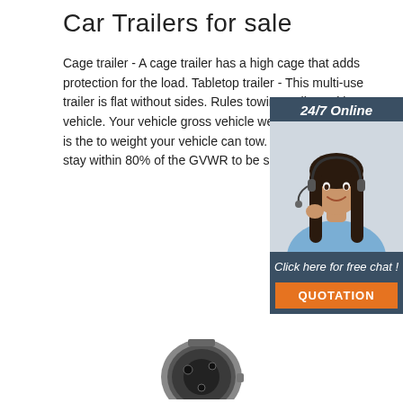Car Trailers for sale
Cage trailer - A cage trailer has a high cage that adds protection for the load. Tabletop trailer - This multi-use trailer is flat without sides. Rules towing trailers with a vehicle. Your vehicle gross vehicle weight rating, which is the to weight your vehicle can tow. You should tr stay within 80% of the GVWR to be safe.
[Figure (infographic): Sidebar widget with '24/7 Online' header, photo of a woman with headset, 'Click here for free chat!' text, and an orange QUOTATION button]
[Figure (photo): Partial image of a wristwatch at the bottom center of the page]